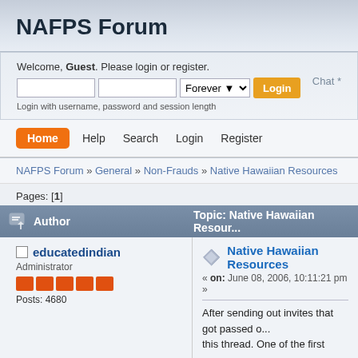NAFPS Forum
Welcome, Guest. Please login or register.
Login with username, password and session length
Chat *
Home  Help  Search  Login  Register
NAFPS Forum » General » Non-Frauds » Native Hawaiian Resources
Pages: [1]
| Author | Topic: Native Hawaiian Resour... |
| --- | --- |
| educatedindian
Administrator
Posts: 4680 | Native Hawaiian Resources
« on: June 08, 2006, 10:11:21 pm »
After sending out invites that got passed o... this thread. One of the first responses w... |